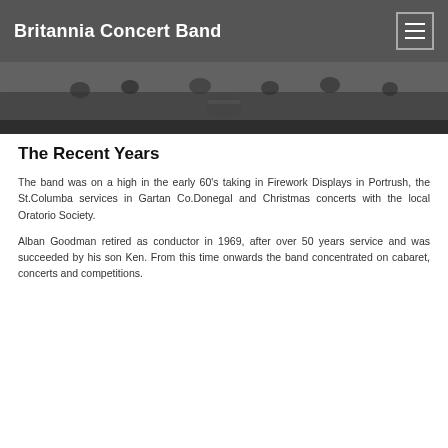Britannia Concert Band
[Figure (photo): Black and white photograph of a concert band performing, viewed from above/side showing musicians on stage with instruments including drums visible]
The Recent Years
The band was on a high in the early 60's taking in Firework Displays in Portrush, the St.Columba services in Gartan Co.Donegal and Christmas concerts with the local Oratorio Society.
Alban Goodman retired as conductor in 1969, after over 50 years service and was succeeded by his son Ken. From this time onwards the band concentrated on cabaret, concerts and competitions.